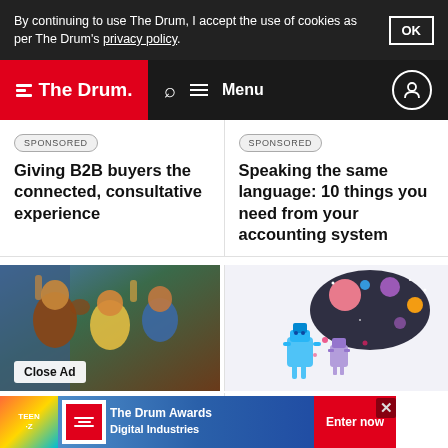By continuing to use The Drum, I accept the use of cookies as per The Drum's privacy policy. OK
The Drum — Search Menu
SPONSORED
Giving B2B buyers the connected, consultative experience
SPONSORED
Speaking the same language: 10 things you need from your accounting system
[Figure (photo): People celebrating, possibly watching sports, with a football visible]
Close Ad
[Figure (illustration): Space-themed colorful illustration with robots and planets on dark background]
06 Jan
SPON
[Figure (screenshot): Bottom ad banner: The Drum Awards Digital Industries with Enter now button]